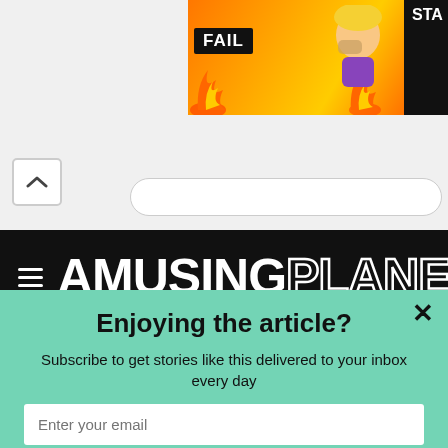[Figure (screenshot): Top area: white background with a partial ad banner in top-right corner showing 'FAIL' text and animated cartoon character with flames]
[Figure (logo): AmusingPlanet website navigation bar with hamburger menu, logo 'AMUSINGPLANET', and search icon on black background]
Enjoying the article?
Subscribe to get stories like this delivered to your inbox every day